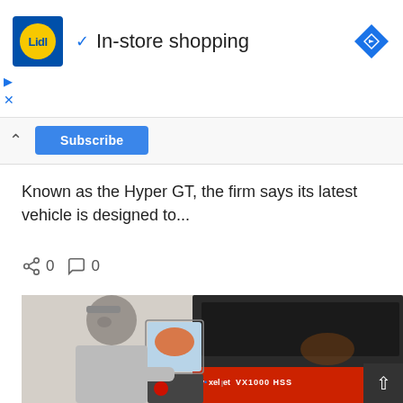[Figure (screenshot): Lidl logo (blue square border with yellow circle and Lidl text inside) with blue checkmark and 'In-store shopping' text, and a blue navigation diamond icon on the right — an advertisement banner]
[Figure (screenshot): UI controls: play/forward triangle and X icons in blue on the left side of the ad]
[Figure (screenshot): Collapsed section bar with caret-up arrow on left and partial blue Subscribe button in center]
Known as the Hyper GT, the firm says its latest vehicle is designed to...
[Figure (infographic): Social sharing row with share icon (0) and comment bubble icon (0)]
[Figure (photo): Man with shaved head in grey long-sleeve shirt operating a large industrial 3D printer. The machine has a black hood/chamber and a red base labeled 'voxeljet VX1000 HSS'. A touchscreen on the machine shows an orange/yellow design.]